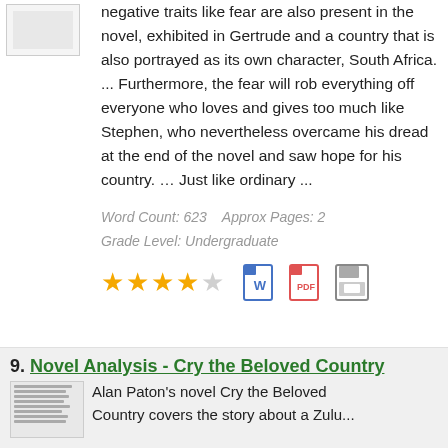negative traits like fear are also present in the novel, exhibited in Gertrude and a country that is also portrayed as its own character, South Africa. ... Furthermore, the fear will rob everything off everyone who loves and gives too much like Stephen, who nevertheless overcame his dread at the end of the novel and saw hope for his country. … Just like ordinary ...
Word Count: 623    Approx Pages: 2
Grade Level: Undergraduate
[Figure (other): 4 out of 5 stars rating, with word document, PDF, and save icons]
9. Novel Analysis - Cry the Beloved Country
Alan Paton's novel Cry the Beloved Country covers the story about a Zulu...